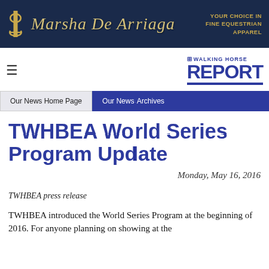[Figure (logo): Marsha De Arriaga banner with anchor icon, script brand name, and tagline 'YOUR CHOICE IN FINE EQUESTRIAN APPAREL' on dark blue background]
[Figure (logo): The Walking Horse Report logo with hamburger menu icon]
Our News Home Page | Our News Archives
TWHBEA World Series Program Update
Monday, May 16, 2016
TWHBEA press release
TWHBEA introduced the World Series Program at the beginning of 2016. For anyone planning on showing at the